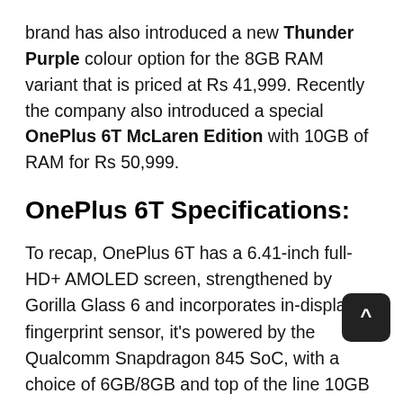brand has also introduced a new Thunder Purple colour option for the 8GB RAM variant that is priced at Rs 41,999. Recently the company also introduced a special OnePlus 6T McLaren Edition with 10GB of RAM for Rs 50,999.
OnePlus 6T Specifications:
To recap, OnePlus 6T has a 6.41-inch full-HD+ AMOLED screen, strengthened by Gorilla Glass 6 and incorporates in-display fingerprint sensor, it's powered by the Qualcomm Snapdragon 845 SoC, with a choice of 6GB/8GB and top of the line 10GB variants. It packs 3700mAh battery.  It will be available in four variants 6GB RAM/128GB storage, 8GB RAM/128GB storage, 8GB RAM/256GB storage and limited edition